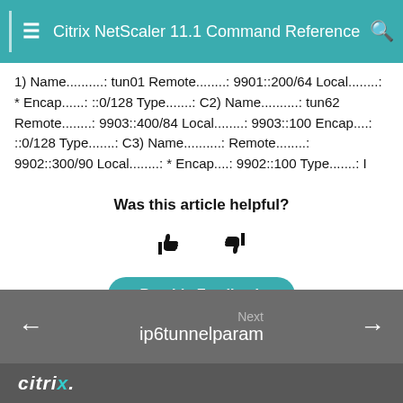Citrix NetScaler 11.1 Command Reference
1) Name.........: tun01 Remote.......: 9901::200/64 Local.......: * Encap.....: ::0/128 Type......: C2) Name.........: tun62 Remote.......: 9903::400/84 Local.......: 9903::100 Encap....: ::0/128 Type......: C3) Name.........: Remote.......: 9902::300/90 Local.......: * Encap....: 9902::100 Type......: I
Was this article helpful?
[Figure (other): Thumbs up and thumbs down icons for article feedback]
Provide Feedback
Next ip6tunnelparam